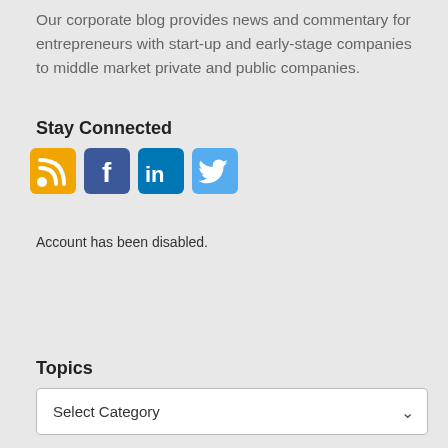Our corporate blog provides news and commentary for entrepreneurs with start-up and early-stage companies to middle market private and public companies.
Stay Connected
[Figure (infographic): Social media icons: RSS (orange), Facebook (dark blue), LinkedIn (blue), Twitter (light blue)]
Account has been disabled.
Topics
Select Category dropdown